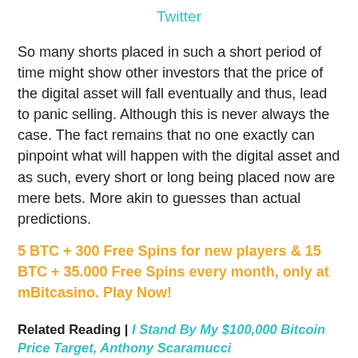Twitter
So many shorts placed in such a short period of time might show other investors that the price of the digital asset will fall eventually and thus, lead to panic selling. Although this is never always the case. The fact remains that no one exactly can pinpoint what will happen with the digital asset and as such, every short or long being placed now are mere bets. More akin to guesses than actual predictions.
5 BTC + 300 Free Spins for new players & 15 BTC + 35.000 Free Spins every month, only at mBitcasino. Play Now!
Related Reading | I Stand By My $100,000 Bitcoin Price Target, Anthony Scaramucci